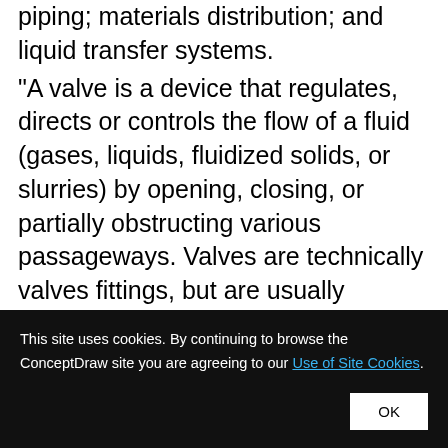piping; materials distribution; and liquid transfer systems.
"A valve is a device that regulates, directs or controls the flow of a fluid (gases, liquids, fluidized solids, or slurries) by opening, closing, or partially obstructing various passageways. Valves are technically valves fittings, but are usually discussed as a separate category. In an open valve, fluid flows in a direction from higher pressure to lower pressure.
This site uses cookies. By continuing to browse the ConceptDraw site you are agreeing to our Use of Site Cookies.